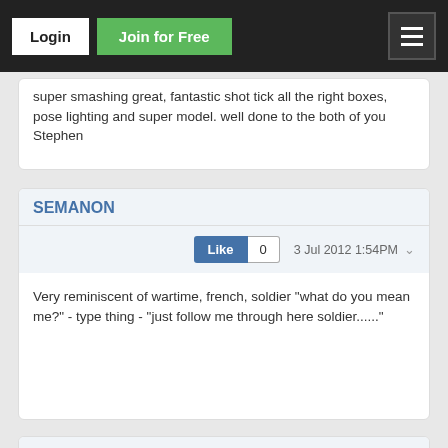Login | Join for Free
super smashing great, fantastic shot tick all the right boxes, pose lighting and super model. well done to the both of you Stephen
SEMANON
Like 0  3 Jul 2012 1:54PM
Very reminiscent of wartime, french, soldier "what do you mean me?" - type thing - "just follow me through here soldier......"
dudler Plus
Like 0  22 Aug 2012 2:18PM